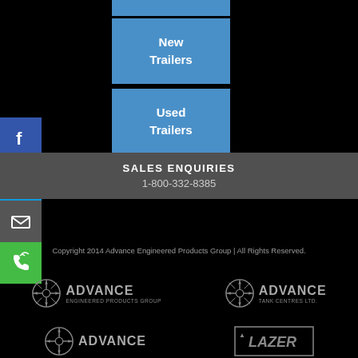[Figure (screenshot): Blue navigation buttons: 'New Trailers' and 'Used Trailers' on black background]
[Figure (screenshot): Social media sidebar icons: Facebook (blue), Twitter (blue), Email (gray), Phone (green)]
SALES ENQUIRIES
1-800-332-8385
Copyright 2014 Advance Engineered Products Group | All Rights Reserved.
[Figure (logo): Advance Engineered Products Group logo (gray)]
[Figure (logo): Advance Tank Centres Ltd. logo (gray)]
[Figure (logo): Advance logo partial (gray, bottom)]
[Figure (logo): Lazer logo partial (gray, bottom)]